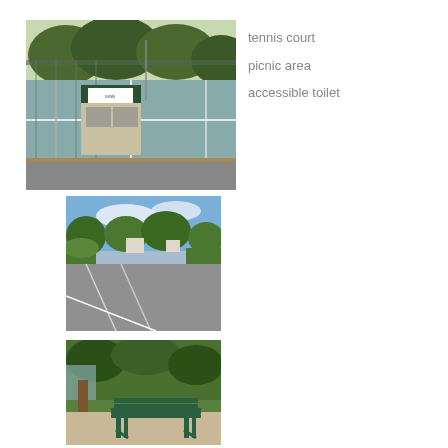[Figure (photo): Outdoor tennis courts with green chain-link fencing, a two-storey club building with a sign, and trees in the background. Grey road/path in foreground.]
tennis court
picnic area
accessible toilet
[Figure (photo): A paved car park with white line markings, surrounded by garden beds, shrubs, and eucalyptus trees under a blue sky with clouds.]
[Figure (photo): A green park bench under a tree in a picnic area, with greenery and garden in the background.]